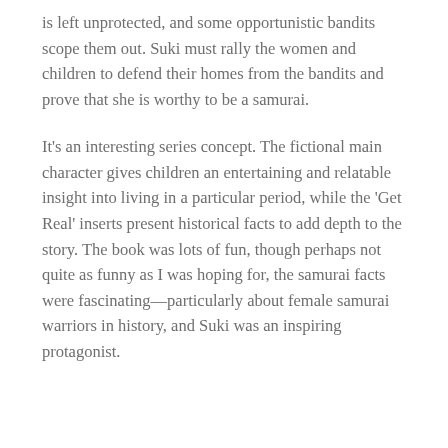is left unprotected, and some opportunistic bandits scope them out. Suki must rally the women and children to defend their homes from the bandits and prove that she is worthy to be a samurai.
It's an interesting series concept. The fictional main character gives children an entertaining and relatable insight into living in a particular period, while the 'Get Real' inserts present historical facts to add depth to the story. The book was lots of fun, though perhaps not quite as funny as I was hoping for, the samurai facts were fascinating—particularly about female samurai warriors in history, and Suki was an inspiring protagonist.